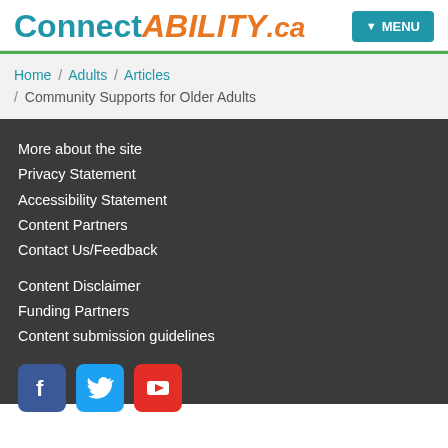ConnectABILITY.ca — MENU
Home / Adults / Articles / Community Supports for Older Adults
More about the site
Privacy Statement
Accessibility Statement
Content Partners
Contact Us/Feedback
Content Disclaimer
Funding Partners
Content submission guidelines
[Figure (illustration): Social media icons: Facebook (blue), Twitter (light blue), YouTube (red)]
COMMUNITY LIVING TORONTO — 20 Spadina Road, Toronto, ON M5R 2S7